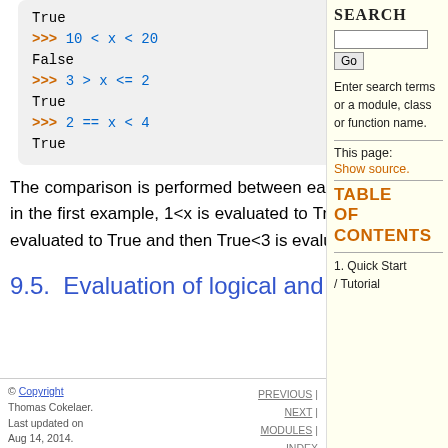[Figure (screenshot): Python interactive shell code block showing: True, >>> 10 < x < 20, False, >>> 3 > x <= 2, True, >>> 2 == x < 4, True]
The comparison is performed between each pair of terms to be evaluated. For instance in the first example, 1<x is evaluated to True AND x<2 is evaluated. It is not as if 1<x is evaluated to True and then True<3 is evaluated to True !!! Each term is evaluated once.
9.5. Evaluation of logical and comparison operators
© Copyright Thomas Cokelaer. Last updated on Aug 14, 2014. Created using | PREVIOUS | NEXT | MODULES | INDEX
SEARCH
Enter search terms or a module, class or function name.
This page:
Show source.
TABLE OF CONTENTS
1. Quick Start / Tutorial